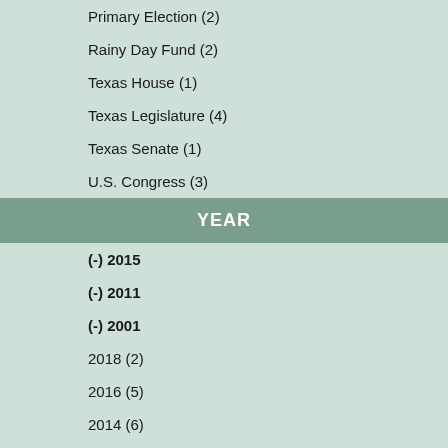Primary Election (2)
Rainy Day Fund (2)
Texas House (1)
Texas Legislature (4)
Texas Senate (1)
U.S. Congress (3)
YEAR
(-) 2015
(-) 2011
(-) 2001
2018 (2)
2016 (5)
2014 (6)
2013 (2)
2012 (7)
2010 (3)
2009 (2)
2008 (10)